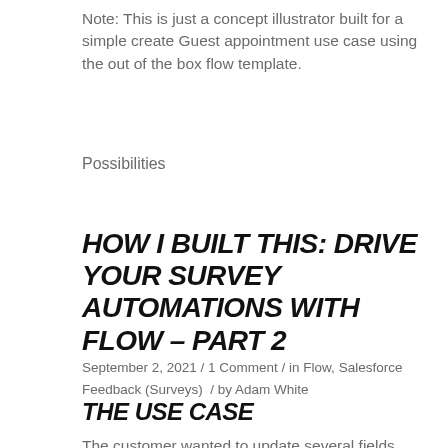Note: This is just a concept illustrator built for a simple create Guest appointment use case using the out of the box flow template.
Possibilities
HOW I BUILT THIS: DRIVE YOUR SURVEY AUTOMATIONS WITH FLOW – PART 2
September 2, 2021 / 1 Comment / in Flow, Salesforce Feedback (Surveys) / by Adam White
THE USE CASE
The customer wanted to update several fields